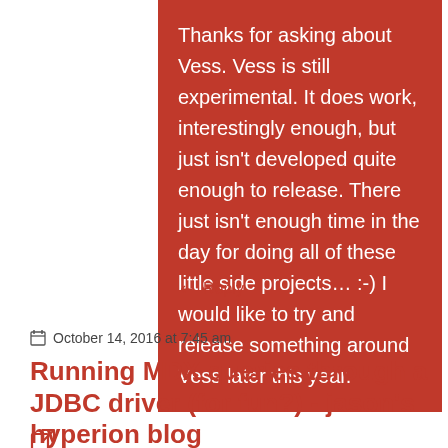Thanks for asking about Vess. Vess is still experimental. It does work, interestingly enough, but just isn't developed quite enough to release. There just isn't enough time in the day for doing all of these little side projects... :-) I would like to try and release something around Vess later this year.
↩ Reply
October 14, 2016 at 7:45 am
Running MDX queries through a JDBC driver (for fun?) - jason's hyperion blog